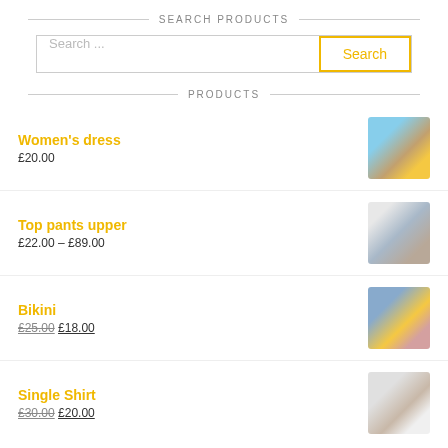SEARCH PRODUCTS
Search ...
PRODUCTS
Women's dress
£20.00
Top pants upper
£22.00 – £89.00
Bikini
£25.00 £18.00
Single Shirt
£30.00 £20.00